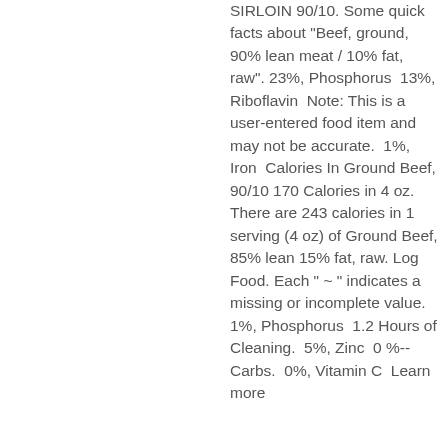SIRLOIN 90/10. Some quick facts about "Beef, ground, 90% lean meat / 10% fat, raw". 23%, Phosphorus  13%, Riboflavin  Note: This is a user-entered food item and may not be accurate.  1%, Iron  Calories In Ground Beef, 90/10 170 Calories in 4 oz. There are 243 calories in 1 serving (4 oz) of Ground Beef, 85% lean 15% fat, raw. Log Food. Each " ~ " indicates a missing or incomplete value.  1%, Phosphorus  1.2 Hours of Cleaning.  5%, Zinc  0 %--Carbs.  0%, Vitamin C  Learn more